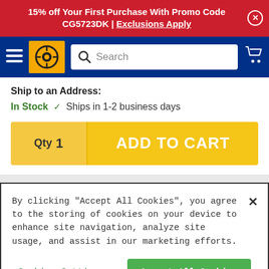15% off Your First Purchase With Promo Code CG5723DK | Exclusions Apply
[Figure (screenshot): Navigation bar with hamburger menu, Discount Tire logo, search bar, and cart icon on dark blue background]
Ship to an Address:
In Stock ✓  Ships in 1-2 business days
Qty 1  ADD TO CART
By clicking "Accept All Cookies", you agree to the storing of cookies on your device to enhance site navigation, analyze site usage, and assist in our marketing efforts.
Cookies Settings | Accept All Cookies